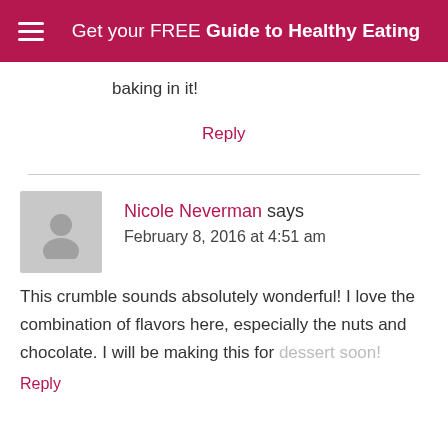Get your FREE Guide to Healthy Eating
baking in it!
Reply
Nicole Neverman says
February 8, 2016 at 4:51 am
This crumble sounds absolutely wonderful! I love the combination of flavors here, especially the nuts and chocolate. I will be making this for dessert soon!
Reply